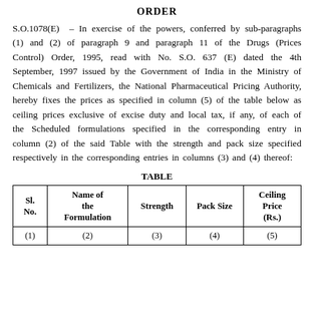ORDER
S.O.1078(E) – In exercise of the powers, conferred by sub-paragraphs (1) and (2) of paragraph 9 and paragraph 11 of the Drugs (Prices Control) Order, 1995, read with No. S.O. 637 (E) dated the 4th September, 1997 issued by the Government of India in the Ministry of Chemicals and Fertilizers, the National Pharmaceutical Pricing Authority, hereby fixes the prices as specified in column (5) of the table below as ceiling prices exclusive of excise duty and local tax, if any, of each of the Scheduled formulations specified in the corresponding entry in column (2) of the said Table with the strength and pack size specified respectively in the corresponding entries in columns (3) and (4) thereof:
TABLE
| Sl. No. | Name of the Formulation | Strength | Pack Size | Ceiling Price (Rs.) |
| --- | --- | --- | --- | --- |
| (1) | (2) | (3) | (4) | (5) |